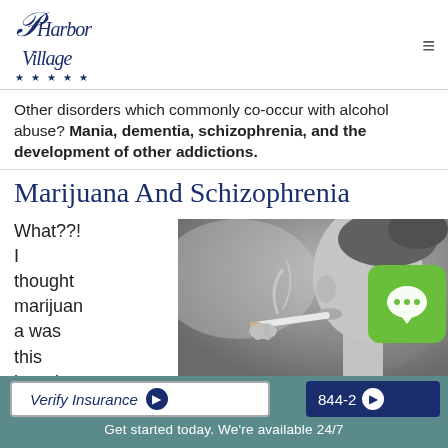Harbor Village ★ ★ ★ ★ ★
Other disorders which commonly co-occur with alcohol abuse? Mania, dementia, schizophrenia, and the development of other addictions.
Marijuana And Schizophrenia
What??! I thought marijuana was this harmless
[Figure (photo): Black and white close-up photo of a person smoking a cigarette or joint, viewed from the side profile]
Verify Insurance ▶   844-2...   Get started today. We're available 24/7